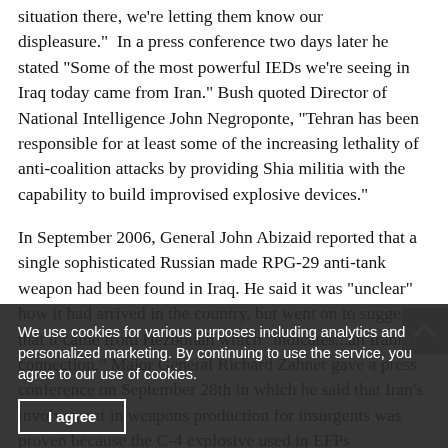situation there, we're letting them know our displeasure."  In a press conference two days later he stated "Some of the most powerful IEDs we're seeing in Iraq today came from Iran." Bush quoted Director of National Intelligence John Negroponte, "Tehran has been responsible for at least some of the increasing lethality of anti-coalition attacks by providing Shia militia with the capability to build improvised explosive devices."
In September 2006, General John Abizaid reported that a single sophisticated Russian made RPG-29 anti-tank weapon had been found in Iraq. He said it was "unclear" how it had arrived in the country, but went on to suggest that it came from Hezbollah which "indicates...an Iranian connection." Major General Richard Zahner gave a press conference on September 28th in which he said that Iran's involvement in weapons production for insurgents was proven because the C-4 explosive used in EFPs
We use cookies for various purposes including analytics and personalized marketing. By continuing to use the service, you agree to our use of cookies.